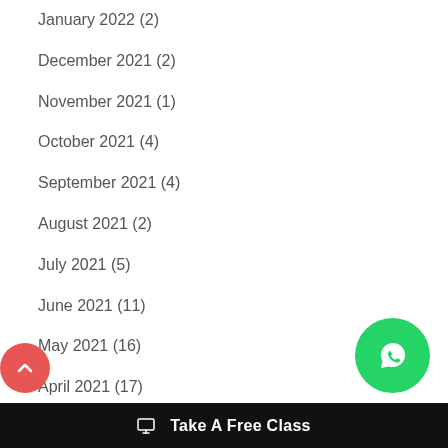January 2022 (2)
December 2021 (2)
November 2021 (1)
October 2021 (4)
September 2021 (4)
August 2021 (2)
July 2021 (5)
June 2021 (11)
May 2021 (16)
April 2021 (17)
March 2021 (15)
Take A Free Class